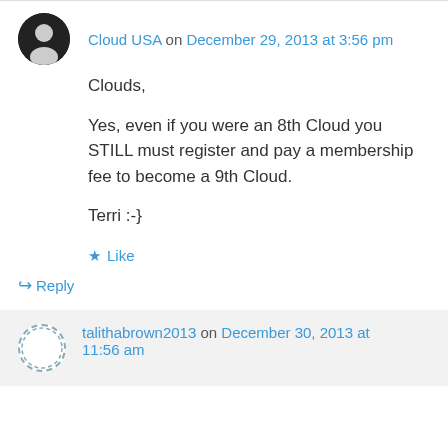Cloud USA on December 29, 2013 at 3:56 pm
Clouds,

Yes, even if you were an 8th Cloud you STILL must register and pay a membership fee to become a 9th Cloud.

Terri :-}
★ Like
↳ Reply
talithabrown2013 on December 30, 2013 at 11:56 am